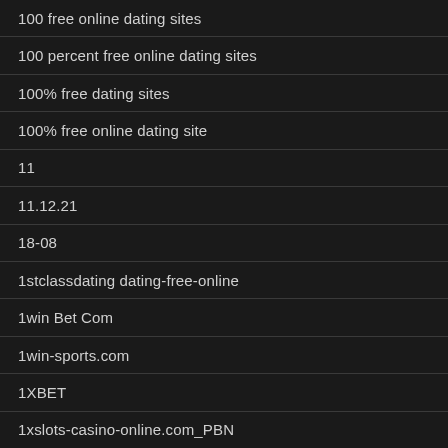100 free online dating sites
100 percent free online dating sites
100% free dating sites
100% free online dating site
11
11.12.21
18-08
1stclassdating dating-free-online
1win Bet Com
1win-sports.com
1XBET
1xslots-casino-online.com_PBN